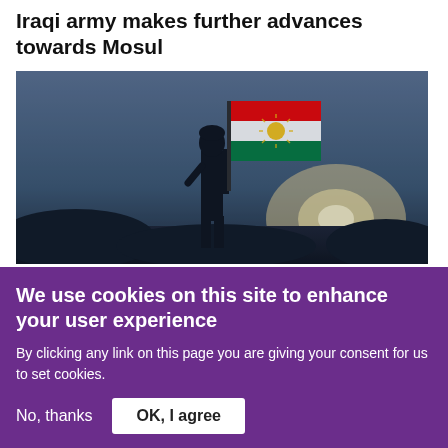Iraqi army makes further advances towards Mosul
[Figure (photo): Silhouette of a soldier holding the Kurdish flag (red, white, green with sun emblem) against a bright sky background]
Iraq at War
On the road to Mosul: Iraqi Kurds seize IS-held town of Bashiqa
We use cookies on this site to enhance your user experience
By clicking any link on this page you are giving your consent for us to set cookies.
No, thanks   OK, I agree